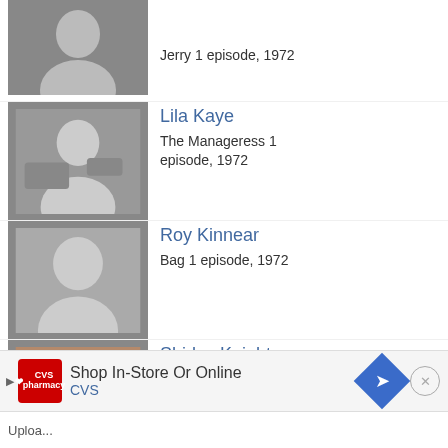Jerry 1 episode, 1972
Lila Kaye — The Manageress 1 episode, 1972
Roy Kinnear — Bag 1 episode, 1972
Shirley Knight — The woman 1 episode, 1972
Harry Landis — Frank 1 episode, 1972
Jean Leppard — Linda Langston 1 episode, 1972
Ann Lynn
Shop In-Store Or Online CVS